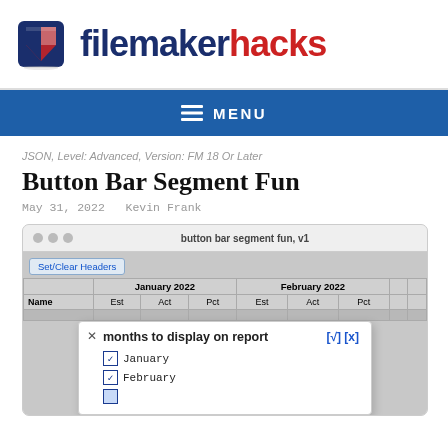filemaker hacks
MENU
JSON, Level: Advanced, Version: FM 18 Or Later
Button Bar Segment Fun
May 31, 2022   Kevin Frank
[Figure (screenshot): Screenshot of a FileMaker database layout showing a report with January 2022 and February 2022 columns (Est, Act, Pct), a Set/Clear Headers button, and a popup dialog titled 'months to display on report' with checkboxes for January and February checked.]